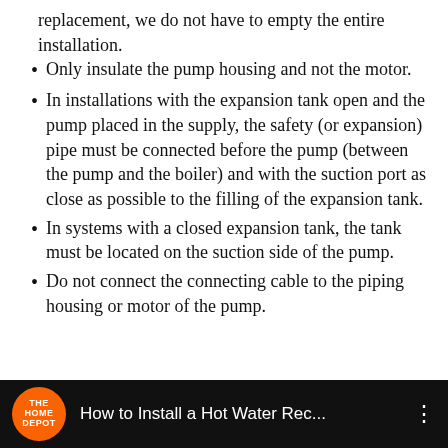replacement, we do not have to empty the entire installation.
Only insulate the pump housing and not the motor.
In installations with the expansion tank open and the pump placed in the supply, the safety (or expansion) pipe must be connected before the pump (between the pump and the boiler) and with the suction port as close as possible to the filling of the expansion tank.
In systems with a closed expansion tank, the tank must be located on the suction side of the pump.
Do not connect the connecting cable to the piping housing or motor of the pump.
[Figure (screenshot): Video thumbnail bar showing The Home Depot logo and title 'How to Install a Hot Water Rec...' on a dark background]